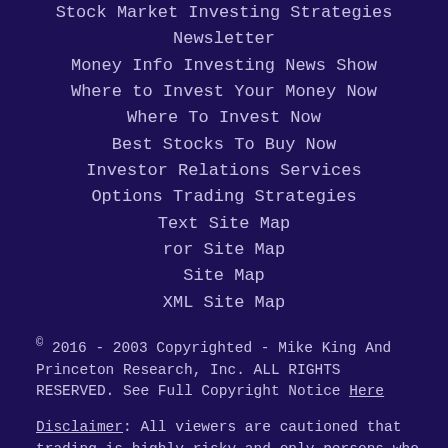Stock Market Investing Strategies Newsletter
Money Info Investing News Show
Where to Invest Your Money Now
Where To Invest Now
Best Stocks To Buy Now
Investor Relations Services
Options Trading Strategies
Text Site Map
ror Site Map
Site Map
XML Site Map
© 2016 - 2003 Copyrighted - Mike King And Princeton Research, Inc. ALL RIGHTS RESERVED. See Full Copyright Notice Here
Disclaimer: All viewers are cautioned that trading is highly risky and only persons who can sustain the risk of loss should engage in speculative trading. This web site is for informational purposes only. No part of this site is to be considered stock solicitation or an offer to buy or sell securities. No investment advice of any kind is to be inferred